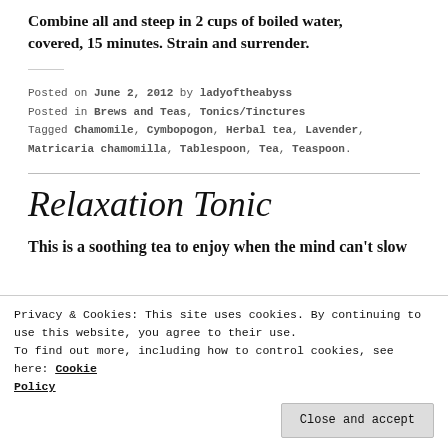Combine all and steep in 2 cups of boiled water, covered, 15 minutes. Strain and surrender.
Posted on June 2, 2012 by ladyoftheabyss
Posted in Brews and Teas, Tonics/Tinctures
Tagged Chamomile, Cymbopogon, Herbal tea, Lavender, Matricaria chamomilla, Tablespoon, Tea, Teaspoon.
Relaxation Tonic
This is a soothing tea to enjoy when the mind can't slow
Privacy & Cookies: This site uses cookies. By continuing to use this website, you agree to their use.
To find out more, including how to control cookies, see here: Cookie Policy
Close and accept